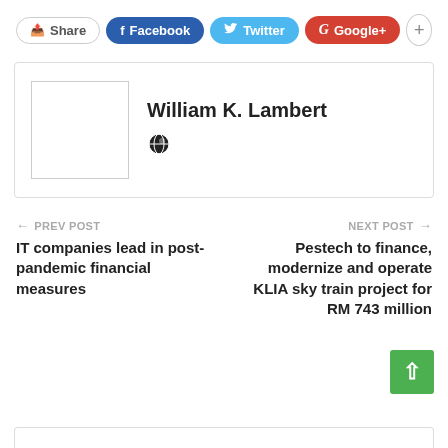[Figure (infographic): Social share buttons row: Share, Facebook, Twitter, Google+, and a + button]
[Figure (infographic): Author card with placeholder avatar box and name William K. Lambert with a globe icon]
William K. Lambert
PREV POST
IT companies lead in post-pandemic financial measures
NEXT POST
Pestech to finance, modernize and operate KLIA sky train project for RM 743 million
[Figure (infographic): Green back-to-top button with upward arrow in bottom right]